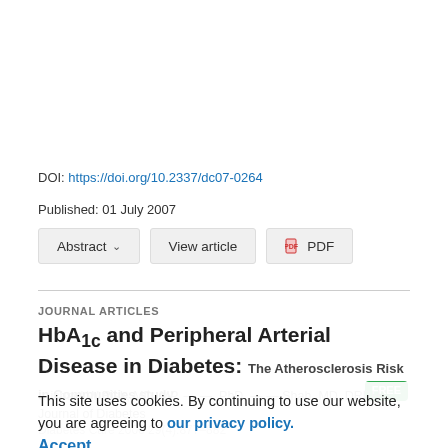DOI: https://doi.org/10.2337/dc07-0264
Published: 01 July 2007
Abstract ∨   View article   🔖 PDF
JOURNAL ARTICLES
HbA1c and Peripheral Arterial Disease in Diabetes: The Atherosclerosis Risk in Communities study
This site uses cookies. By continuing to use our website, you are agreeing to our privacy policy. Accept